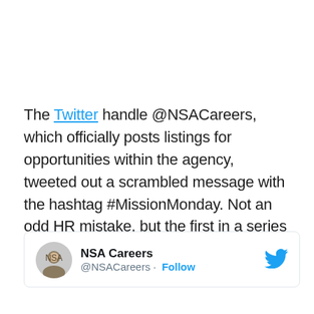The Twitter handle @NSACareers, which officially posts listings for opportunities within the agency, tweeted out a scrambled message with the hashtag #MissionMonday. Not an odd HR mistake, but the first in a series of encrypted tweets meant to draw in would-be code breakers.
[Figure (screenshot): Twitter/X card showing NSA Careers account with logo, handle @NSACareers and Follow button, with Twitter bird icon in top right]